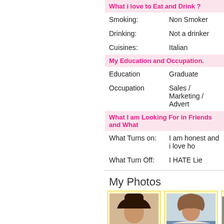What i love to Eat and Drink ?
Smoking: Non Smoker
Drinking: Not a drinker
Cuisines: Italian
My Education and Occupation.
Education Graduate
Occupation Sales / Marketing / Advert
What I am Looking For in Friends and What
What Turns on: I am honest and i love ho
What Turn Off: I HATE Lie
My Photos
[Figure (photo): Photo of a young woman with long dark hair, selfie style]
[Figure (photo): Photo of a woman with auburn hair in white top and green skirt, FindFriendz.com watermark]
[Figure (photo): Partially visible third photo, cropped at right edge]